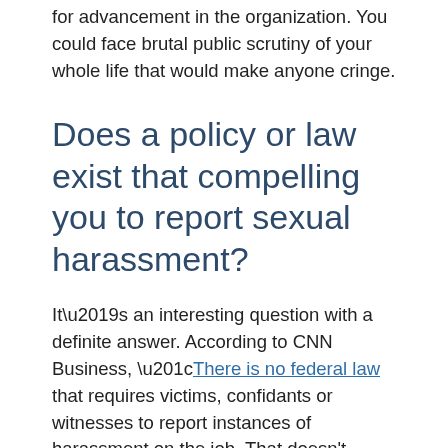for advancement in the organization. You could face brutal public scrutiny of your whole life that would make anyone cringe.
Does a policy or law exist that compelling you to report sexual harassment?
It’s an interesting question with a definite answer. According to CNN Business, “There is no federal law that requires victims, confidants or witnesses to report instances of harassment on the job. That doesn’t mean they shouldn’t, of course.”
There is one key twist for those in leadership roles.